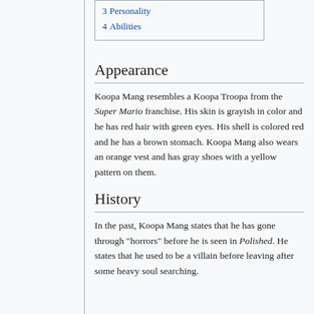3 Personality
4 Abilities
Appearance
Koopa Mang resembles a Koopa Troopa from the Super Mario franchise. His skin is grayish in color and he has red hair with green eyes. His shell is colored red and he has a brown stomach. Koopa Mang also wears an orange vest and has gray shoes with a yellow pattern on them.
History
In the past, Koopa Mang states that he has gone through "horrors" before he is seen in Polished. He states that he used to be a villain before leaving after some heavy soul searching.